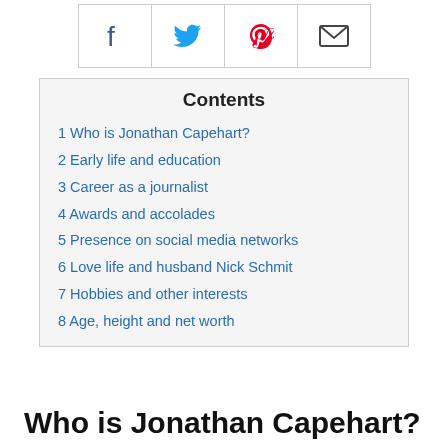[Figure (other): Social sharing icons bar with Facebook, Twitter, Pinterest, and email icons]
Contents
1 Who is Jonathan Capehart?
2 Early life and education
3 Career as a journalist
4 Awards and accolades
5 Presence on social media networks
6 Love life and husband Nick Schmit
7 Hobbies and other interests
8 Age, height and net worth
Who is Jonathan Capehart?